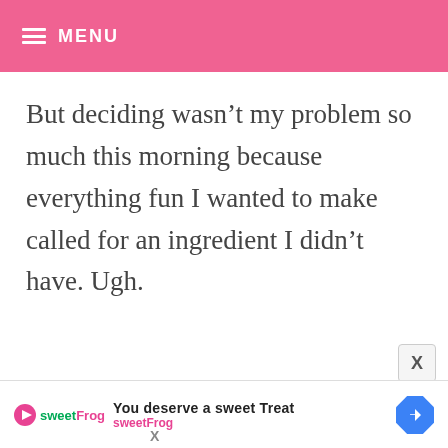MENU
But deciding wasn’t my problem so much this morning because everything fun I wanted to make called for an ingredient I didn’t have. Ugh.
[Figure (screenshot): Advertisement banner for sweetFrog frozen yogurt. Shows sweetFrog logo with play icon, headline 'You deserve a sweet Treat', brand name 'sweetFrog', a blue diamond-shaped arrow button, and an X close button.]